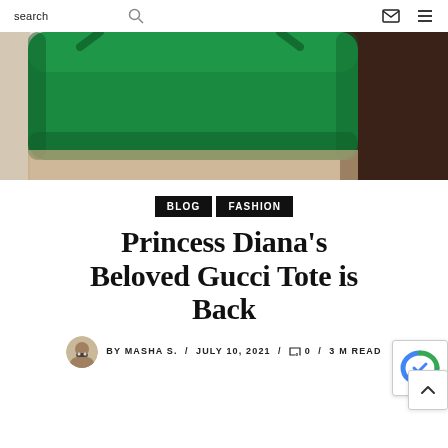search [search icon] [mail icon] [menu icon]
[Figure (photo): Close-up photo of a green leather Gucci tote bag against a light background with wooden floor visible]
BLOG   FASHION
Princess Diana's Beloved Gucci Tote is Back
BY MASHA S. / JULY 10, 2021 / 0 / 3 M READ